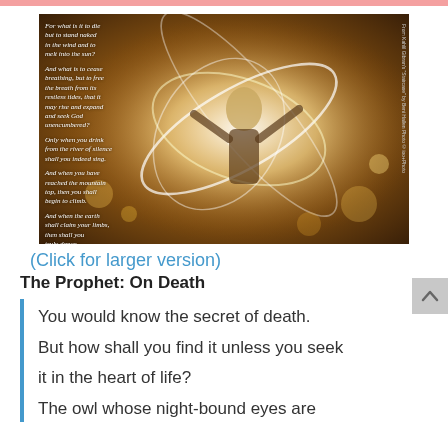[Figure (photo): A person with arms raised surrounded by glowing light trails and bokeh in a field, with an italic poem overlay on the left side reading excerpts from Kahlil Gibran's The Prophet on death.]
(Click for larger version)
The Prophet: On Death
You would know the secret of death.

But how shall you find it unless you seek it in the heart of life?

The owl whose night-bound eyes are